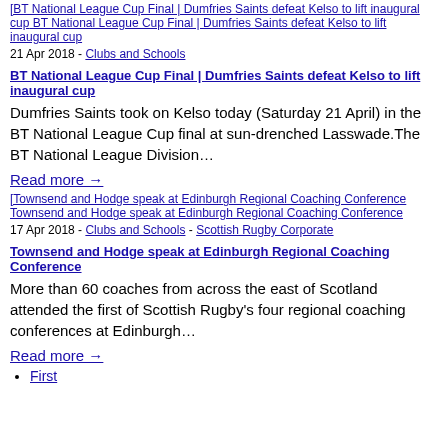[Figure (other): Broken image thumbnail for BT National League Cup Final article]
21 Apr 2018 - Clubs and Schools
BT National League Cup Final | Dumfries Saints defeat Kelso to lift inaugural cup
Dumfries Saints took on Kelso today (Saturday 21 April) in the BT National League Cup final at sun-drenched Lasswade.The BT National League Division…
Read more →
[Figure (other): Broken image thumbnail for Townsend and Hodge coaching conference article]
17 Apr 2018 - Clubs and Schools - Scottish Rugby Corporate
Townsend and Hodge speak at Edinburgh Regional Coaching Conference
More than 60 coaches from across the east of Scotland attended the first of Scottish Rugby's four regional coaching conferences at Edinburgh…
Read more →
First